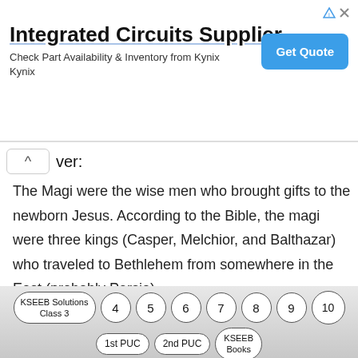[Figure (infographic): Advertisement banner for Integrated Circuits Supplier by Kynix, with a 'Get Quote' button and ad icons.]
Answer:
The Magi were the wise men who brought gifts to the newborn Jesus. According to the Bible, the magi were three kings (Casper, Melchior, and Balthazar) who traveled to Bethlehem from somewhere in the East (probably Persia).
Question 20.
What is the writer's last word to the wise of these days?
[Figure (infographic): Navigation bar with pill-shaped buttons: KSEEB Solutions Class 3, 4, 5, 6, 7, 8, 9, 10, 1st PUC, 2nd PUC, KSEEB Books]